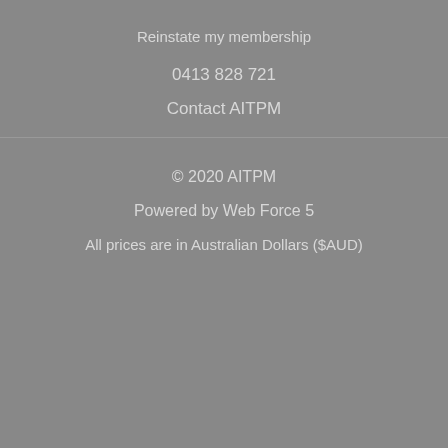Reinstate my membership
0413 828 721
Contact AITPM
© 2020 AITPM
Powered by Web Force 5
All prices are in Australian Dollars ($AUD)